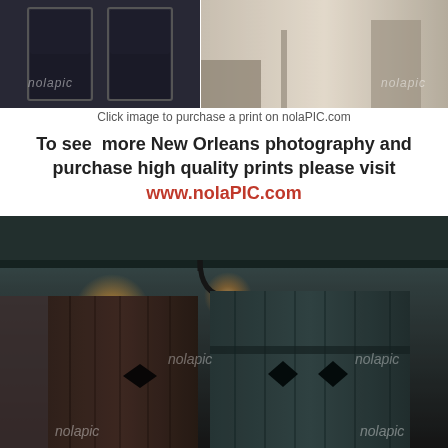[Figure (photo): Top row: two small photographs of New Orleans architecture — left shows dark moody door/shutters, right shows blurred alley/street scene. Both watermarked 'nolapic'.]
Click image to purchase a print on nolaPIC.com
To see more New Orleans photography and purchase high quality prints please visit www.nolaPIC.com
[Figure (photo): Large photograph of rustic New Orleans wooden doors/shutters at night with ornate iron bracket holding a glowing lantern. Aged weathered painted wood with diamond cutouts. Watermarked 'nolapic'.]